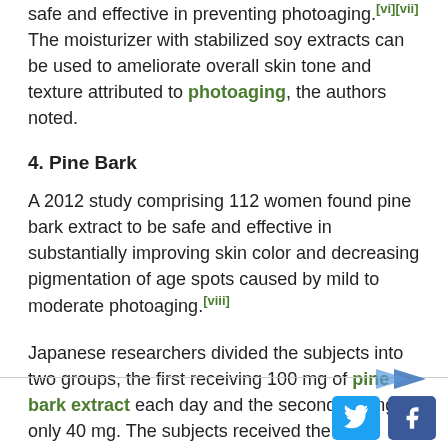safe and effective in preventing photoaging.[vi][vii] The moisturizer with stabilized soy extracts can be used to ameliorate overall skin tone and texture attributed to photoaging, the authors noted.
4. Pine Bark
A 2012 study comprising 112 women found pine bark extract to be safe and effective in substantially improving skin color and decreasing pigmentation of age spots caused by mild to moderate photoaging.[viii]
Japanese researchers divided the subjects into two groups, the first receiving 100 mg of pine bark extract each day and the second getting only 40 mg. The subjects received the standardized extracts known as Pycnogenol®, found to significantly improve hydration and elasticity of the participants' skin.